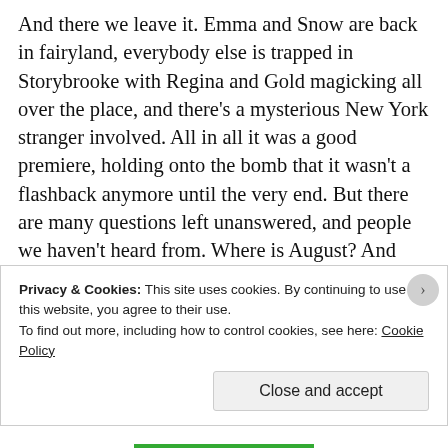And there we leave it. Emma and Snow are back in fairyland, everybody else is trapped in Storybrooke with Regina and Gold magicking all over the place, and there's a mysterious New York stranger involved. All in all it was a good premiere, holding onto the bomb that it wasn't a flashback anymore until the very end. But there are many questions left unanswered, and people we haven't heard from. Where is August? And Jefferson? They're linked very intricately with the fate of our main characters, but we don't know anything about them, post-curse. Also, just putting an appeal out there for Amy Acker's fairy/nun to come back. Because it's Amy Acker playing a fairy/nun, it's so adorable I can't even handle it. But alas, we'll just have to wait and see.
Privacy & Cookies: This site uses cookies. By continuing to use this website, you agree to their use. To find out more, including how to control cookies, see here: Cookie Policy
Close and accept